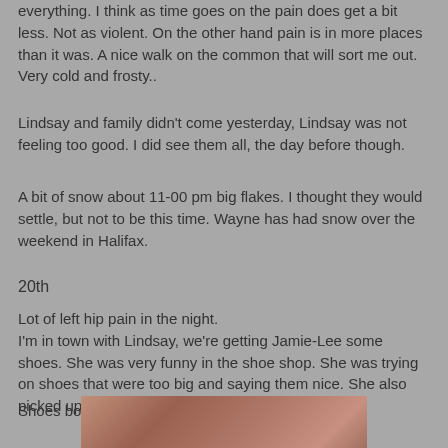everything. I think as time goes on the pain does get a bit less. Not as violent. On the other hand pain is in more places than it was. A nice walk on the common that will sort me out. Very cold and frosty..
Lindsay and family didn't come yesterday, Lindsay was not feeling too good. I did see them all, the day before though.
A bit of snow about 11-00 pm big flakes. I thought they would settle, but not to be this time. Wayne has had snow over the weekend in Halifax.
20th
Lot of left hip pain in the night.
I'm in town with Lindsay, we're getting Jamie-Lee some shoes. She was very funny in the shoe shop. She was trying on shoes that were too big and saying them nice. She also picked up a back pack and said it was for school.
Shoes bought.
[Figure (photo): Partial photo of a person with reddish-brown hair, cropped at the bottom of the page]